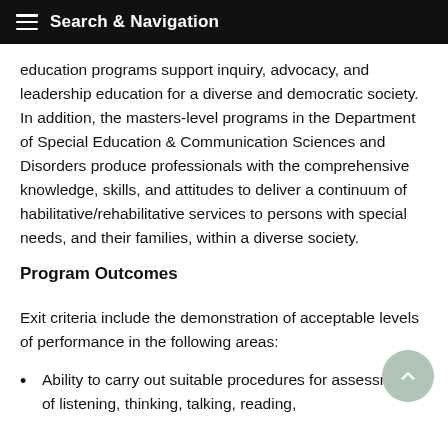Search & Navigation
education programs support inquiry, advocacy, and leadership education for a diverse and democratic society. In addition, the masters-level programs in the Department of Special Education & Communication Sciences and Disorders produce professionals with the comprehensive knowledge, skills, and attitudes to deliver a continuum of habilitative/rehabilitative services to persons with special needs, and their families, within a diverse society.
Program Outcomes
Exit criteria include the demonstration of acceptable levels of performance in the following areas:
Ability to carry out suitable procedures for assessment of listening, thinking, talking, reading,